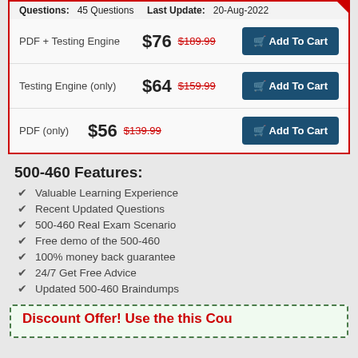Questions: 45 Questions   Last Update: 20-Aug-2022
| Product | Price | Old Price | Action |
| --- | --- | --- | --- |
| PDF + Testing Engine | $76 | $189.99 | Add To Cart |
| Testing Engine (only) | $64 | $159.99 | Add To Cart |
| PDF (only) | $56 | $139.99 | Add To Cart |
500-460 Features:
Valuable Learning Experience
Recent Updated Questions
500-460 Real Exam Scenario
Free demo of the 500-460
100% money back guarantee
24/7 Get Free Advice
Updated 500-460 Braindumps
Discount Offer! Use the this Coupon...